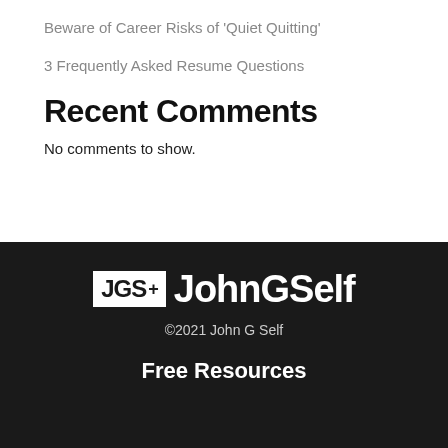Beware of Career Risks of ‘Quiet Quitting’
3 Frequently Asked Resume Questions
Recent Comments
No comments to show.
[Figure (logo): JGS+ JohnGSelf logo in white on dark background]
©2021 John G Self
Free Resources